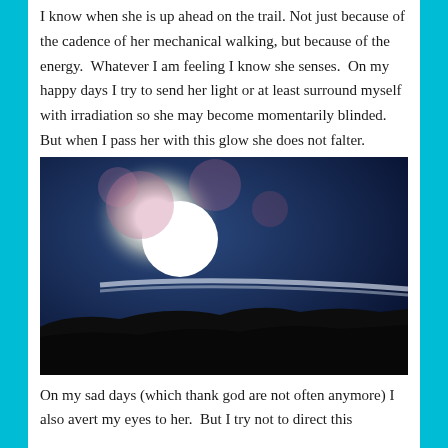I know when she is up ahead on the trail. Not just because of the cadence of her mechanical walking, but because of the energy. Whatever I am feeling I know she senses. On my happy days I try to send her light or at least surround myself with irradiation so she may become momentarily blinded. But when I pass her with this glow she does not falter.
[Figure (photo): Outdoor photograph looking toward a bright white sun low in a deep blue sky, with pink lens flare circles scattered around. A dark silhouetted hill or ridge runs across the lower portion of the image, with a white contrail or cloud streak across the mid-sky.]
On my sad days (which thank god are not often anymore) I also avert my eyes to her. But I try not to direct this